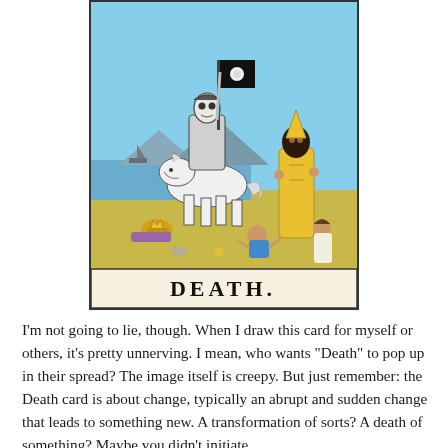[Figure (illustration): Tarot card depicting the Death card (XIII) from the Rider-Waite tarot deck. Shows a skeleton figure in armor on horseback, with fallen figures below and a bishop/pope figure in yellow robes to the right. At the bottom of the card, the label reads 'DEATH.' in bold capital letters.]
I'm not going to lie, though. When I draw this card for myself or others, it's pretty unnerving. I mean, who wants "Death" to pop up in their spread? The image itself is creepy. But just remember: the Death card is about change, typically an abrupt and sudden change that leads to something new. A transformation of sorts? A death of something? Maybe you didn't initiate